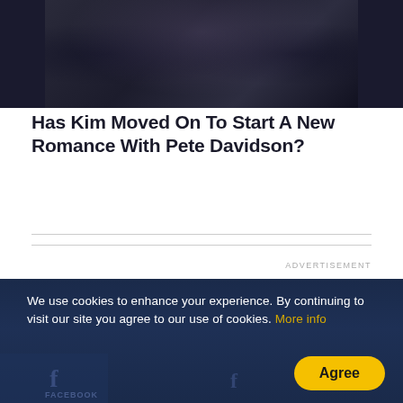[Figure (photo): Dark photograph of a person wearing a dark velvet or textured outfit, partially visible, against a dark background with vehicles visible on the sides]
Has Kim Moved On To Start A New Romance With Pete Davidson?
ADVERTISEMENT
We use cookies to enhance your experience. By continuing to visit our site you agree to our use of cookies. More info
Agree